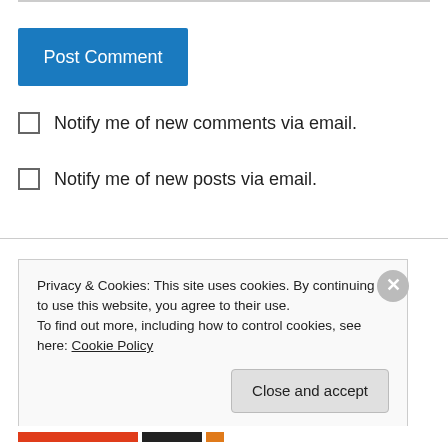Post Comment
Notify me of new comments via email.
Notify me of new posts via email.
operahell on April 9, 2015 at 6:13 pm
Oh my god, give me more.
Privacy & Cookies: This site uses cookies. By continuing to use this website, you agree to their use. To find out more, including how to control cookies, see here: Cookie Policy
Close and accept